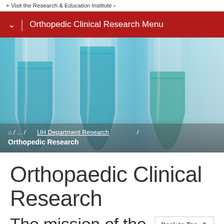Visit the Research & Education Institute →
Orthopedic Clinical Research Menu
🏠 / ... / UH Department Research / Orthopedic Research
[Figure (photo): Laboratory test tubes/pipette tips containing blue liquid, close-up macro photo on blue background]
Orthopaedic Clinical Research
Back to Top ^
The mission of the...